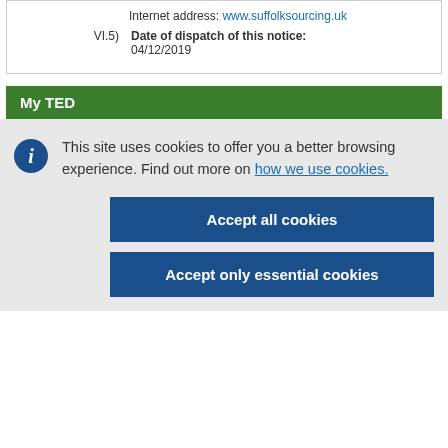Internet address: www.suffolksourcing.uk
VI.5) Date of dispatch of this notice: 04/12/2019
My TED
This site uses cookies to offer you a better browsing experience. Find out more on how we use cookies.
Accept all cookies
Accept only essential cookies